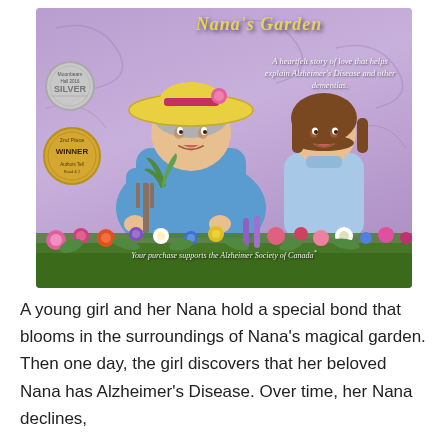[Figure (illustration): Book cover illustration of 'Nana's Garden' showing an elderly grandmother in a blue shirt and yellow straw hat with a pink rose, holding a garden fork and plant, with a young brown-haired girl beside her. Purple/lavender background with floral garden at bottom. Awards: Moonbeam Hall 2016 Silver medal and 2nd Place Winner medal. Text: 'A heartfelt story of love that helps explain Alzheimer's Disease and other dementias.' Bottom text: 'Your purchase supports the Alzheimer Society of Canada']
A young girl and her Nana hold a special bond that blooms in the surroundings of Nana's magical garden. Then one day, the girl discovers that her beloved Nana has Alzheimer's Disease. Over time, her Nana declines,